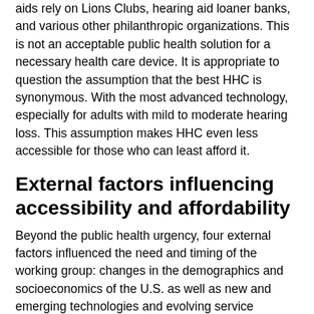aids rely on Lions Clubs, hearing aid loaner banks, and various other philanthropic organizations. This is not an acceptable public health solution for a necessary health care device. It is appropriate to question the assumption that the best HHC is synonymous. With the most advanced technology, especially for adults with mild to moderate hearing loss. This assumption makes HHC even less accessible for those who can least afford it.
External factors influencing accessibility and affordability
Beyond the public health urgency, four external factors influenced the need and timing of the working group: changes in the demographics and socioeconomics of the U.S. as well as new and emerging technologies and evolving service delivery paradigms.
Changing demographics
BACK TO TOP
The primary population highlights...